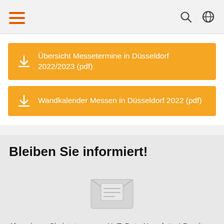Navigation header with hamburger menu, search icon, and globe icon
Übersicht Messetermine in Düsseldorf 2022/2023 (pdf)
Wandkalender Messen in Düsseldorf 2022 (pdf)
Bleiben Sie informiert!
[Figure (illustration): Light gray envelope icon with letter inside, newsletter subscription illustration]
Abonnieren Sie jetzt unseren UpToDate-Newsletter! Damit erhalten Sie regelmäßig Informationen über Terminänderungen bei unseren Messeveranstaltungen